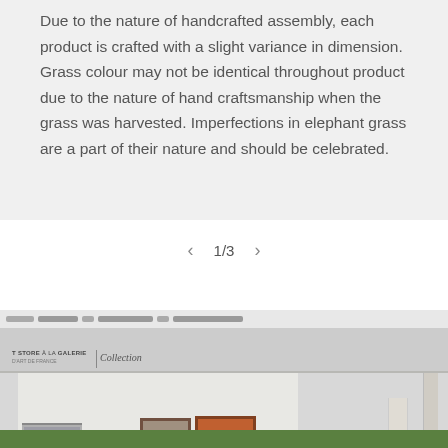Due to the nature of handcrafted assembly, each product is crafted with a slight variance in dimension. Grass colour may not be identical throughout product due to the nature of hand craftsmanship when the grass was harvested. Imperfections in elephant grass are a part of their nature and should be celebrated.
1/3
[Figure (photo): A photograph of a gallery storefront showing a white building facade with large windows displaying artwork including paintings, and text reading 'Collection' alongside a gallery logo. Green plants are visible at the bottom.]